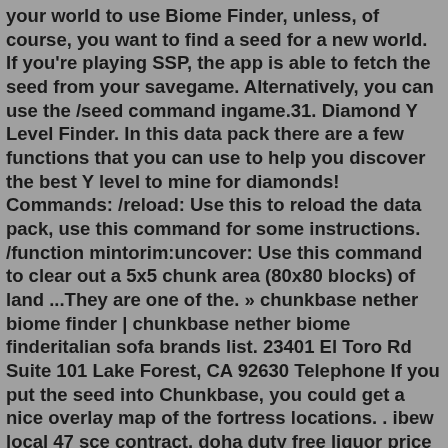your world to use Biome Finder, unless, of course, you want to find a seed for a new world. If you're playing SSP, the app is able to fetch the seed from your savegame. Alternatively, you can use the /seed command ingame.31. Diamond Y Level Finder. In this data pack there are a few functions that you can use to help you discover the best Y level to mine for diamonds! Commands: /reload: Use this to reload the data pack, use this command for some instructions. /function mintorim:uncover: Use this command to clear out a 5x5 chunk area (80x80 blocks) of land ...They are one of the. » chunkbase nether biome finder | chunkbase nether biome finderitalian sofa brands list. 23401 El Toro Rd Suite 101 Lake Forest, CA 92630 Telephone If you put the seed into Chunkbase, you could get a nice overlay map of the fortress locations. . ibew local 47 sce contract. doha duty free liquor price list 2022All your worlds Chunky supports Minecraft Java Edition 1.2.1 and up. New blocks from snapshots are usually added within a few days. Thanks to the built-in Cubic